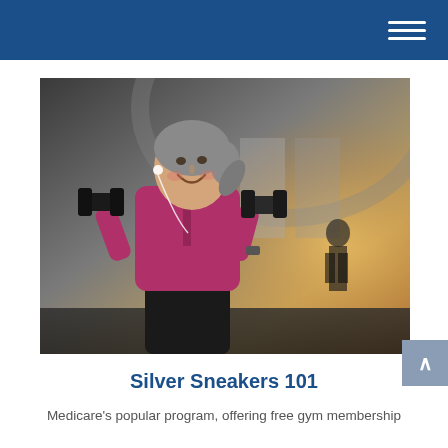Navigation menu (hamburger icon)
[Figure (photo): An older woman with gray hair in a ponytail, wearing a purple/magenta zip-up athletic jacket and earbuds, smiling and lifting two dumbbells in a gym setting. A person is visible in the blurred background near gym equipment. The gym has high ceilings and warm lighting.]
Silver Sneakers 101
Medicare's popular program, offering free gym membership